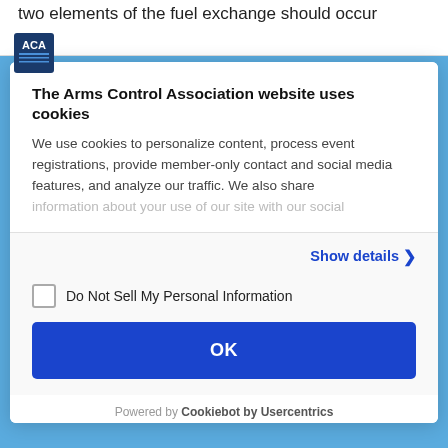two elements of the fuel exchange should occur
[Figure (logo): ACA logo - blue square with white text]
The Arms Control Association website uses cookies
We use cookies to personalize content, process event registrations, provide member-only contact and social media features, and analyze our traffic. We also share information about your use of our site with our social
Show details >
Do Not Sell My Personal Information
OK
Powered by Cookiebot by Usercentrics